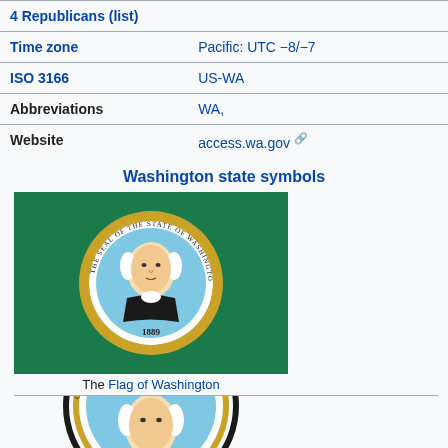| 4 Republicans (list) |
| Time zone | Pacific: UTC −8/−7 |
| ISO 3166 | US-WA |
| Abbreviations | WA, |
| Website | access.wa.gov ↗ |
Washington state symbols
[Figure (illustration): The Flag of Washington — green background with the Seal of the State of Washington in the center, featuring a portrait of George Washington surrounded by gold circle with text]
The Flag of Washington
[Figure (illustration): The Seal of the State of Washington — circular seal with George Washington portrait, partially visible]